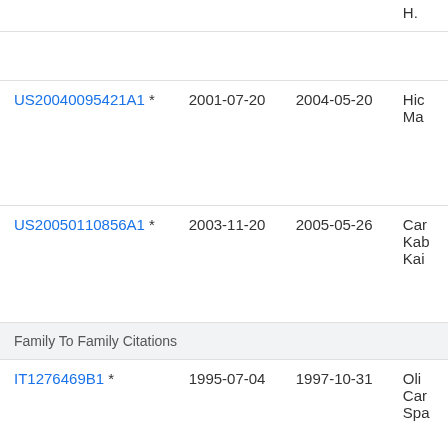| Patent | Filing Date | Publication Date | Assignee |
| --- | --- | --- | --- |
| US20040095421A1 * | 2001-07-20 | 2004-05-20 | Hic
Ma |
| US20050110856A1 * | 2003-11-20 | 2005-05-26 | Car
Kab
Kai |
| Family To Family Citations |  |  |  |
| IT1276469B1 * | 1995-07-04 | 1997-10-31 | Oli
Car
Spa |